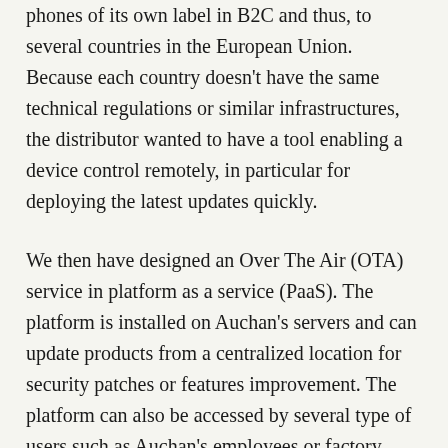phones of its own label in B2C and thus, to several countries in the European Union. Because each country doesn't have the same technical regulations or similar infrastructures, the distributor wanted to have a tool enabling a device control remotely, in particular for deploying the latest updates quickly.
We then have designed an Over The Air (OTA) service in platform as a service (PaaS). The platform is installed on Auchan's servers and can update products from a centralized location for security patches or features improvement. The platform can also be accessed by several type of users such as Auchan's employees or factory manufacturers.